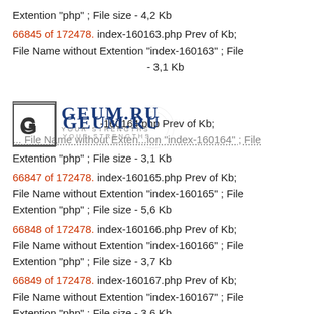Extention "php" ; File size - 4,2 Kb
66845 of 172478. index-160163.php Prev of Kb; File Name without Extention "index-160163" ; File - 3,1 Kb
[Figure (logo): GEUM.RU logo with letter G in a box and text 'YOUR STRENGTHS']
-160164.php Prev of Kb;
... File Name without Extention "index-160164" ; File Extention "php" ; File size - 3,1 Kb
66847 of 172478. index-160165.php Prev of Kb; File Name without Extention "index-160165" ; File Extention "php" ; File size - 5,6 Kb
66848 of 172478. index-160166.php Prev of Kb; File Name without Extention "index-160166" ; File Extention "php" ; File size - 3,7 Kb
66849 of 172478. index-160167.php Prev of Kb; File Name without Extention "index-160167" ; File Extention "php" ; File size - 3,6 Kb